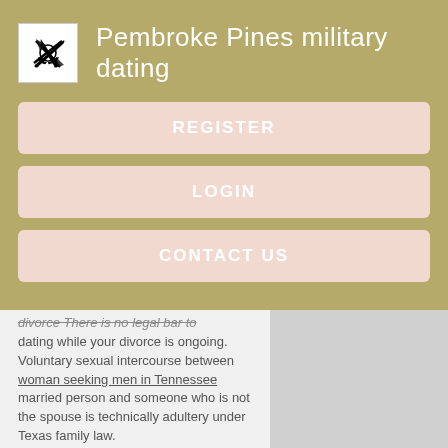Pembroke Pines military dating
REGISTER
LOGIN
CONTACT US
divorce There is no legal bar to dating while your divorce is ongoing. Voluntary sexual intercourse between woman seeking men in Tennessee married person and someone who is not the spouse is technically adultery under Texas family law.